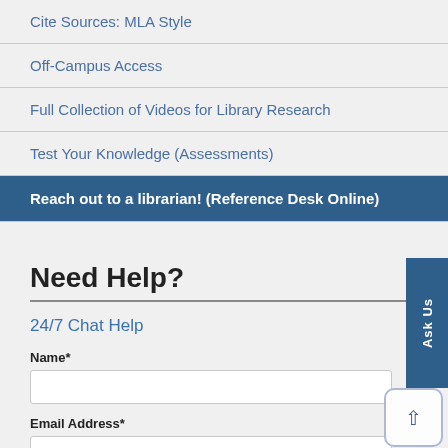Cite Sources: MLA Style
Off-Campus Access
Full Collection of Videos for Library Research
Test Your Knowledge (Assessments)
Reach out to a librarian! (Reference Desk Online)
Need Help?
24/7 Chat Help
Name*
Email Address*
Your Question*